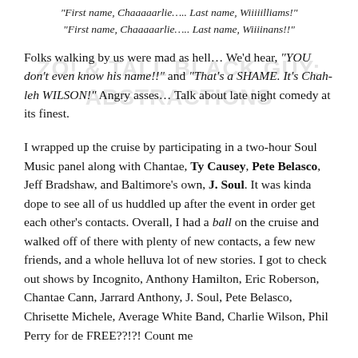“First name, Chaaaaarlie….. Last name, Wiiiiilliams!”
“First name, Chaaaaarlie….. Last name, Wiiiinans!!”
Folks walking by us were mad as hell… We’d hear, “YOU don’t even know his name!!” and “That’s a SHAME. It’s Chah-leh WILSON!” Angry asses… Talk about late night comedy at its finest.
I wrapped up the cruise by participating in a two-hour Soul Music panel along with Chantae, Ty Causey, Pete Belasco, Jeff Bradshaw, and Baltimore’s own, J. Soul. It was kinda dope to see all of us huddled up after the event in order get each other’s contacts. Overall, I had a ball on the cruise and walked off of there with plenty of new contacts, a few new friends, and a whole helluva lot of new stories. I got to check out shows by Incognito, Anthony Hamilton, Eric Roberson, Chantae Cann, Jarrard Anthony, J. Soul, Pete Belasco, Chrisette Michele, Average White Band, Charlie Wilson, Phil Perry for de FREE??!?! Count me